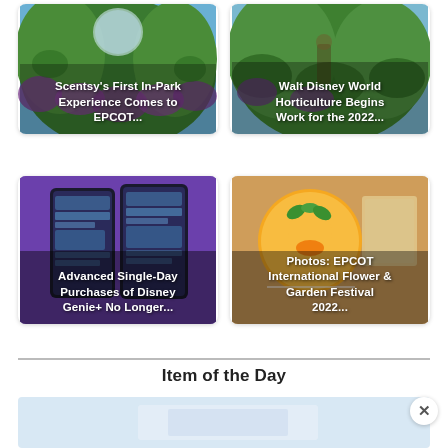[Figure (photo): Card with topiary/green plants at EPCOT with text overlay: Scentsy's First In-Park Experience Comes to EPCOT...]
[Figure (photo): Card with topiary/horticulture at Walt Disney World with text overlay: Walt Disney World Horticulture Begins Work for the 2022...]
[Figure (photo): Card with smartphones showing Disney Genie app with text overlay: Advanced Single-Day Purchases of Disney Genie+ No Longer...]
[Figure (photo): Card with Orange Bird character at EPCOT International Flower & Garden Festival 2022 with text overlay: Photos: EPCOT International Flower & Garden Festival 2022...]
Item of the Day
[Figure (photo): Partial preview of an item of the day image with light blue background, partially visible]